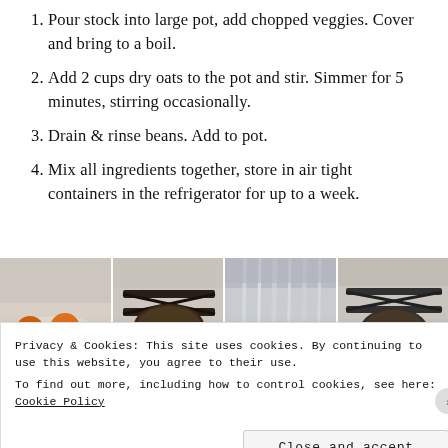Pour stock into large pot, add chopped veggies. Cover and bring to a boil.
Add 2 cups dry oats to the pot and stir. Simmer for 5 minutes, stirring occasionally.
Drain & rinse beans. Add to pot.
Mix all ingredients together, store in air tight containers in the refrigerator for up to a week.
[Figure (photo): Four food preparation photos side by side: orange carrots, dark pan on stove grate, water/liquid curtain, another stove grate with pan.]
Privacy & Cookies: This site uses cookies. By continuing to use this website, you agree to their use.
To find out more, including how to control cookies, see here: Cookie Policy
Close and accept